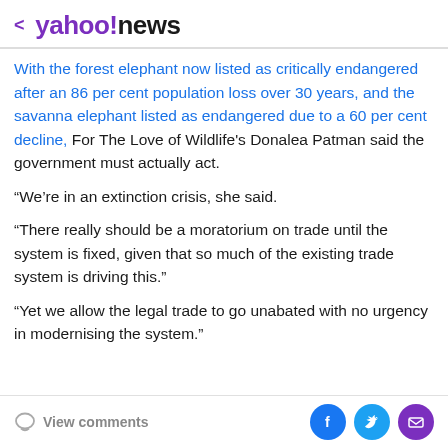< yahoo!news
With the forest elephant now listed as critically endangered after an 86 per cent population loss over 30 years, and the savanna elephant listed as endangered due to a 60 per cent decline, For The Love of Wildlife's Donalea Patman said the government must actually act.
“We’re in an extinction crisis, she said.
“There really should be a moratorium on trade until the system is fixed, given that so much of the existing trade system is driving this.”
“Yet we allow the legal trade to go unabated with no urgency in modernising the system.”
View comments